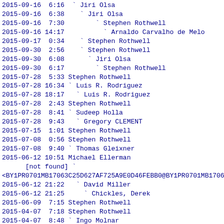2015-09-16  6:16  ` Jiri Olsa
2015-09-16  6:38    ` Jiri Olsa
2015-09-16  7:30        ` Stephen Rothwell
2015-09-16 14:17          ` Arnaldo Carvalho de Melo
2015-09-17  0:34    ` Stephen Rothwell
2015-09-30  2:56    ` Stephen Rothwell
2015-09-30  6:08      ` Jiri Olsa
2015-09-30  6:17        ` Stephen Rothwell
2015-07-28  5:33 Stephen Rothwell
2015-07-28 16:34 ` Luis R. Rodriguez
2015-07-28 18:17   ` Luis R. Rodriguez
2015-07-28  2:43 Stephen Rothwell
2015-07-28  8:41 ` Sudeep Holla
2015-07-28  9:43   ` Gregory CLEMENT
2015-07-15  1:01 Stephen Rothwell
2015-07-08  0:56 Stephen Rothwell
2015-07-08  9:40 ` Thomas Gleixner
2015-06-12 10:51 Michael Ellerman
      [not found] `
<BY1PR0701MB17063C25D627AF725A9E0D46FEBB0@BY1PR0701MB1706
2015-06-12 21:22   ` David Miller
2015-06-12 21:25     ` Chickles, Derek
2015-06-09  7:15 Stephen Rothwell
2015-04-07  7:18 Stephen Rothwell
2015-04-07  8:48 ` Ingo Molnar
2015-04-07  8:56   ` Daniel Borkmann
2015-04-07  9:05     ` Stephen Rothwell
2015-04-07 11:13       ` Daniel Borkmann
2015-04-07 16:18         ` Alexei Starovoitov
2015-04-07 19:54           ` Daniel Borkmann